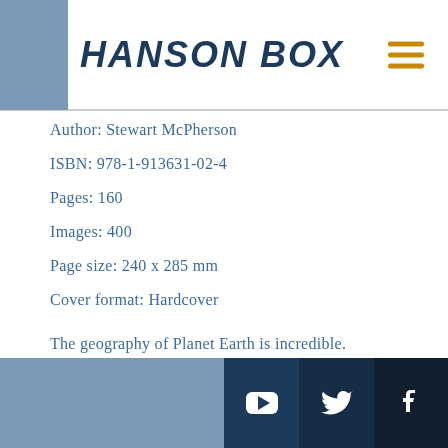HANSON BOX
Author: Stewart McPherson
ISBN: 978-1-913631-02-4
Pages: 160
Images: 400
Page size: 240 x 285 mm
Cover format: Hardcover
The geography of Planet Earth is incredible.
From lava lakes, rainbow mountains, auroras,
YouTube | Twitter | Facebook social icons